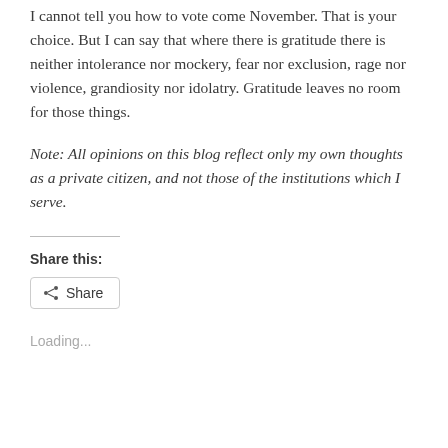I cannot tell you how to vote come November. That is your choice. But I can say that where there is gratitude there is neither intolerance nor mockery, fear nor exclusion, rage nor violence, grandiosity nor idolatry. Gratitude leaves no room for those things.
Note: All opinions on this blog reflect only my own thoughts as a private citizen, and not those of the institutions which I serve.
Share this:
Share
Loading...